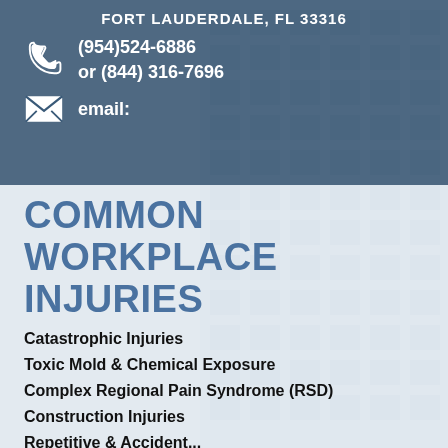FORT LAUDERDALE, FL 33316
(954)524-6886
or (844) 316-7696
email:
COMMON WORKPLACE INJURIES
Catastrophic Injuries
Toxic Mold & Chemical Exposure
Complex Regional Pain Syndrome (RSD)
Construction Injuries
Repetitive & Accident...